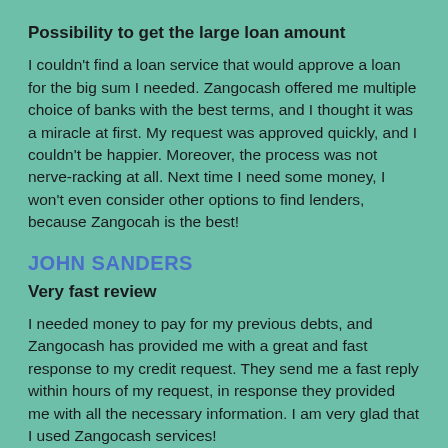Possibility to get the large loan amount
I couldn't find a loan service that would approve a loan for the big sum I needed. Zangocash offered me multiple choice of banks with the best terms, and I thought it was a miracle at first. My request was approved quickly, and I couldn't be happier. Moreover, the process was not nerve-racking at all. Next time I need some money, I won't even consider other options to find lenders, because Zangocah is the best!
JOHN SANDERS
Very fast review
I needed money to pay for my previous debts, and Zangocash has provided me with a great and fast response to my credit request. They send me a fast reply within hours of my request, in response they provided me with all the necessary information. I am very glad that I used Zangocash services!